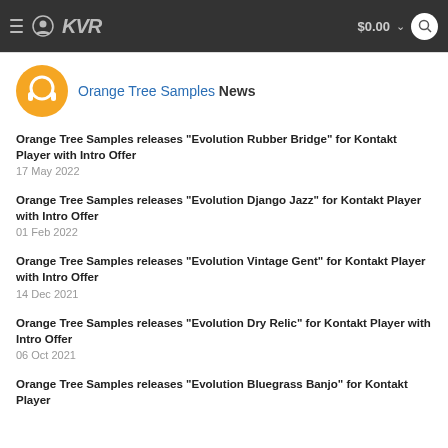KVR $0.00
Orange Tree Samples News
Orange Tree Samples releases "Evolution Rubber Bridge" for Kontakt Player with Intro Offer
17 May 2022
Orange Tree Samples releases "Evolution Django Jazz" for Kontakt Player with Intro Offer
01 Feb 2022
Orange Tree Samples releases "Evolution Vintage Gent" for Kontakt Player with Intro Offer
14 Dec 2021
Orange Tree Samples releases "Evolution Dry Relic" for Kontakt Player with Intro Offer
06 Oct 2021
Orange Tree Samples releases "Evolution Bluegrass Banjo" for Kontakt Player